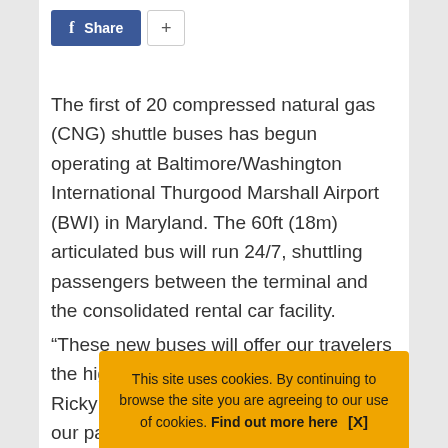[Figure (screenshot): Facebook Share button (blue with 'f' icon and 'Share' text) and a '+' button]
The first of 20 compressed natural gas (CNG) shuttle buses has begun operating at Baltimore/Washington International Thurgood Marshall Airport (BWI) in Maryland. The 60ft (18m) articulated bus will run 24/7, shuttling passengers between the terminal and the consolidated rental car facility.
“These new buses will offer our travelers the highest Ricky S our pas
This site uses cookies. By continuing to browse the site you are agreeing to our use of cookies. Find out more here   [X]